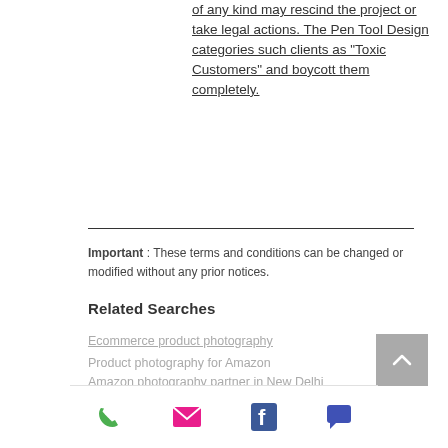of any kind may rescind the project or take legal actions. The Pen Tool Design categories such clients as "Toxic Customers" and boycott them completely.
Important : These terms and conditions can be changed or modified without any prior notices.
Related Searches
Ecommerce product photography
Product photography for Amazon
Amazon photography partner in New Delhi India
Best e commerce photography in Delhi